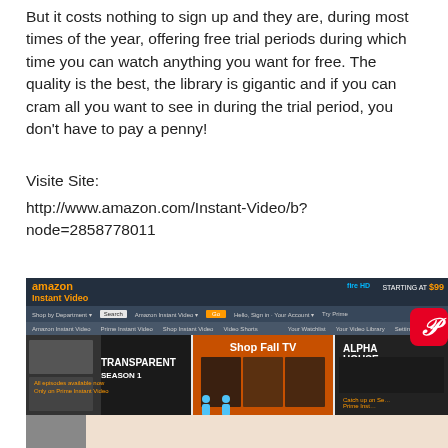But it costs nothing to sign up and they are, during most times of the year, offering free trial periods during which time you can watch anything you want for free. The quality is the best, the library is gigantic and if you can cram all you want to see in during the trial period, you don't have to pay a penny!
Visite Site:
http://www.amazon.com/Instant-Video/b?node=2858778011
[Figure (screenshot): Screenshot of Amazon Instant Video website showing the Amazon navigation header, Fire HD advertisement, and content banners including Transparent Season 1, Shop Fall TV, and Alpha House promotions. A 'Hold and Move' advertisement overlay is visible at the bottom with blue figure icons, and a Pinterest button appears in the top right.]